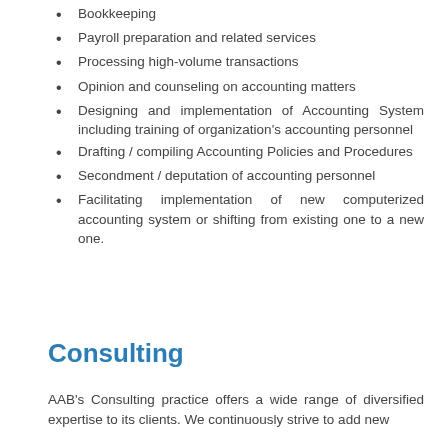Bookkeeping
Payroll preparation and related services
Processing high-volume transactions
Opinion and counseling on accounting matters
Designing and implementation of Accounting System including training of organization's accounting personnel
Drafting / compiling Accounting Policies and Procedures
Secondment / deputation of accounting personnel
Facilitating implementation of new computerized accounting system or shifting from existing one to a new one.
Consulting
AAB's Consulting practice offers a wide range of diversified expertise to its clients. We continuously strive to add new